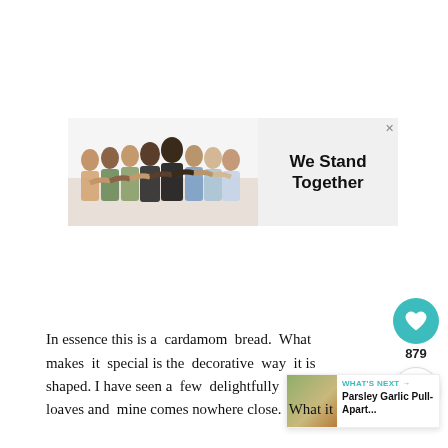[Figure (illustration): Advertisement banner showing a group of people standing together with arms around each other, viewed from behind. Text reads 'We Stand Together' on a light grey background. Close button (x) in top right corner.]
In essence this is a cardamom bread. What makes it special is the decorative way it is shaped. I have seen a few delightfully loaves and mine comes nowhere close. What it